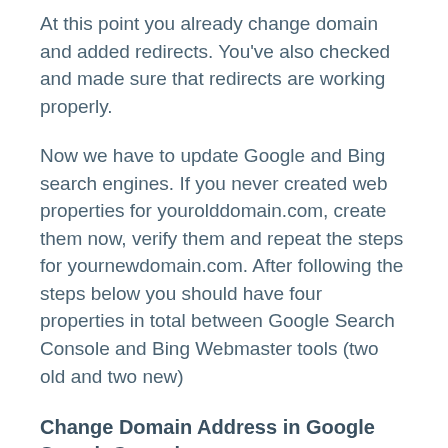At this point you already change domain and added redirects. You've also checked and made sure that redirects are working properly.
Now we have to update Google and Bing search engines. If you never created web properties for yourolddomain.com, create them now, verify them and repeat the steps for yournewdomain.com. After following the steps below you should have four properties in total between Google Search Console and Bing Webmaster tools (two old and two new)
Change Domain Address in Google Search Console